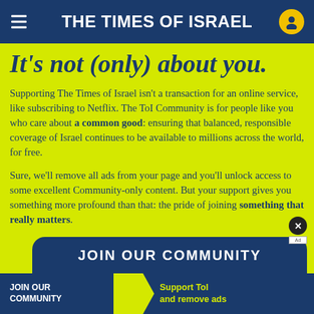THE TIMES OF ISRAEL
It's not (only) about you.
Supporting The Times of Israel isn't a transaction for an online service, like subscribing to Netflix. The ToI Community is for people like you who care about a common good: ensuring that balanced, responsible coverage of Israel continues to be available to millions across the world, for free.
Sure, we'll remove all ads from your page and you'll unlock access to some excellent Community-only content. But your support gives you something more profound than that: the pride of joining something that really matters.
JOIN OUR COMMUNITY
JOIN OUR COMMUNITY
Support ToI and remove ads